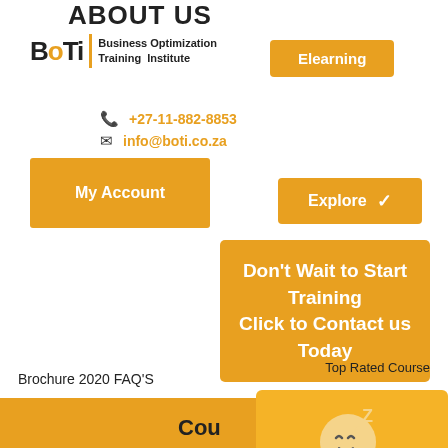ABOUT US
[Figure (logo): BOTI - Business Optimization Training Institute logo with orange and black lettering]
Elearning
+27-11-882-8853
info@boti.co.za
My Account
Explore
Don't Wait to Start Training Click to Contact us Today
Top Rated Course
Brochure 2020 FAQ'S
Cou
[Figure (illustration): Sleeping face emoji with Z letters indicating offline/sleep state]
We're offline
Leave a message